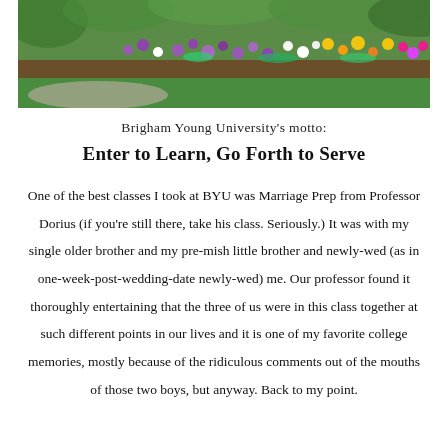[Figure (photo): Outdoor photo of a flower garden bed with colorful blooms including purple, yellow, and white flowers, with green grass in the foreground and trees in the background.]
Brigham Young University's motto:
Enter to Learn, Go Forth to Serve
One of the best classes I took at BYU was Marriage Prep from Professor Dorius (if you're still there, take his class. Seriously.) It was with my single older brother and my pre-mish little brother and newly-wed (as in one-week-post-wedding-date newly-wed) me. Our professor found it thoroughly entertaining that the three of us were in this class together at such different points in our lives and it is one of my favorite college memories, mostly because of the ridiculous comments out of the mouths of those two boys, but anyway. Back to my point.